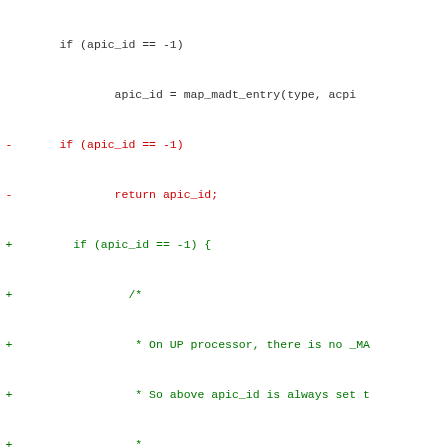[Figure (screenshot): Diff/patch view of C code showing removed lines in red and added lines in green. The code involves apic_id handling logic with comments about UP processor, BIOS CPU handles, Scope (_PR), Processor entries, and acpi_id checks. Bottom shows #ifdef CONFIG_SMP.]